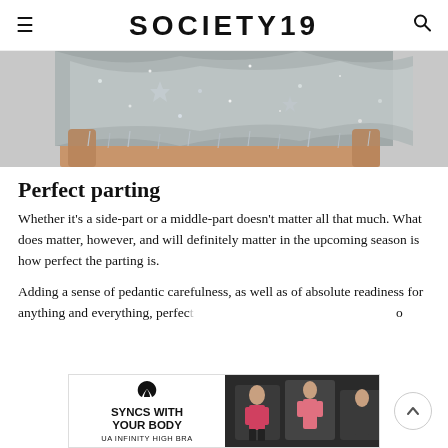SOCIETY19
[Figure (photo): Close-up of a person wearing an elaborate silver crystal/rhinestone headdress covering their face and head, with sparkly embellished shoulders visible below]
Perfect parting
Whether it's a side-part or a middle-part doesn't matter all that much. What does matter, however, and will definitely matter in the upcoming season is how perfect the parting is.
Adding a sense of pedantic carefulness, as well as of absolute readiness for anything and everything, perfect … o
[Figure (other): Advertisement banner for Under Armour UA Infinity High Bra. Text reads: SYNCS WITH YOUR BODY UA INFINITY HIGH BRA. Shows Under Armour logo on left and a fitness image on the right.]